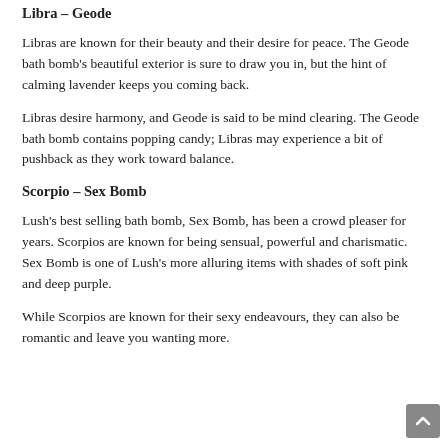Libra – Geode
Libras are known for their beauty and their desire for peace. The Geode bath bomb's beautiful exterior is sure to draw you in, but the hint of calming lavender keeps you coming back.
Libras desire harmony, and Geode is said to be mind clearing. The Geode bath bomb contains popping candy; Libras may experience a bit of pushback as they work toward balance.
Scorpio – Sex Bomb
Lush's best selling bath bomb, Sex Bomb, has been a crowd pleaser for years. Scorpios are known for being sensual, powerful and charismatic. Sex Bomb is one of Lush's more alluring items with shades of soft pink and deep purple.
While Scorpios are known for their sexy endeavours, they can also be romantic and leave you wanting more.